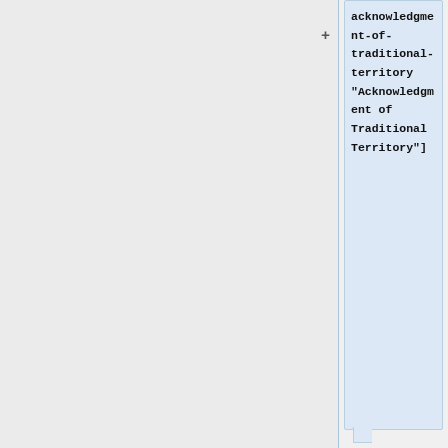acknowledgment-of-traditional-territory "Acknowledgment of Traditional Territory"]
** University of Guelph: [https://guides.uoguelph.ca/guides/style-guide/inclusive-language/indigenous-peoples/